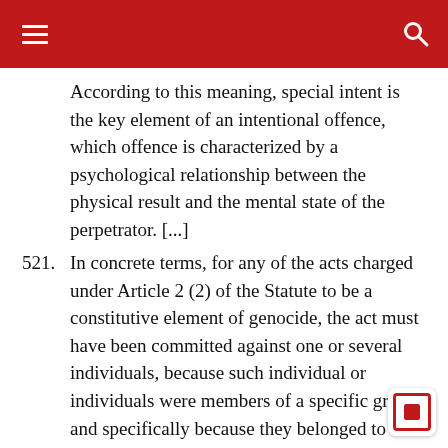According to this meaning, special intent is the key element of an intentional offence, which offence is characterized by a psychological relationship between the physical result and the mental state of the perpetrator. [...]
521. In concrete terms, for any of the acts charged under Article 2 (2) of the Statute to be a constitutive element of genocide, the act must have been committed against one or several individuals, because such individual or individuals were members of a specific group, and specifically because they belonged to this group. Thus, the